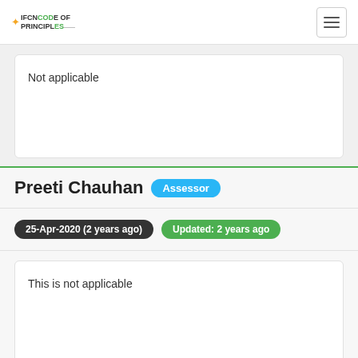IFCN CODE OF PRINCIPLES
Not applicable
Preeti Chauhan  Assessor
25-Apr-2020 (2 years ago)  Updated: 2 years ago
This is not applicable